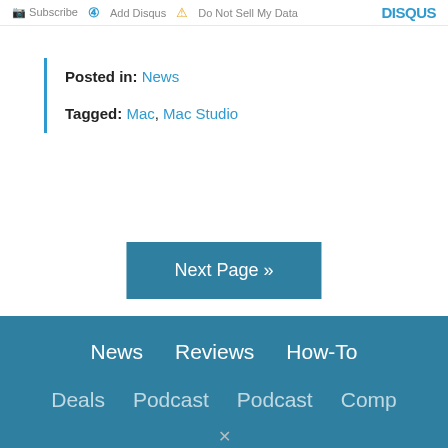Subscribe  Add Disqus  Do Not Sell My Data  DISQUS
Posted in: News
Tagged: Mac, Mac Studio
Next Page »
News   Reviews   How-To